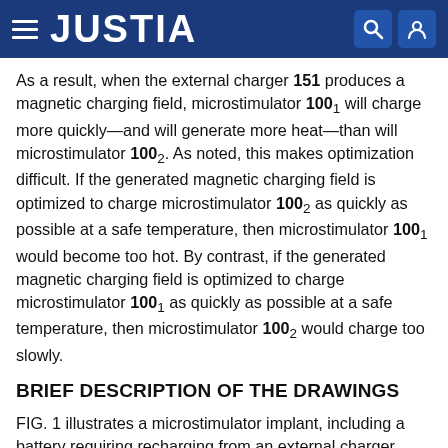JUSTIA
As a result, when the external charger 151 produces a magnetic charging field, microstimulator 100₁ will charge more quickly—and will generate more heat—than will microstimulator 100₂. As noted, this makes optimization difficult. If the generated magnetic charging field is optimized to charge microstimulator 100₂ as quickly as possible at a safe temperature, then microstimulator 100₁ would become too hot. By contrast, if the generated magnetic charging field is optimized to charge microstimulator 100₁ as quickly as possible at a safe temperature, then microstimulator 100₂ would charge too slowly.
BRIEF DESCRIPTION OF THE DRAWINGS
FIG. 1 illustrates a microstimulator implant, including a battery requiring recharging from an external charger,